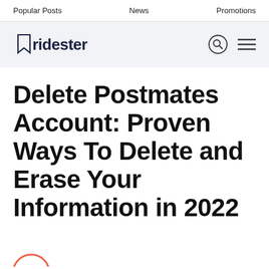Popular Posts   News   Promotions
[Figure (logo): Ridester logo with stylized text and search/menu icons]
Delete Postmates Account: Proven Ways To Delete and Erase Your Information in 2022